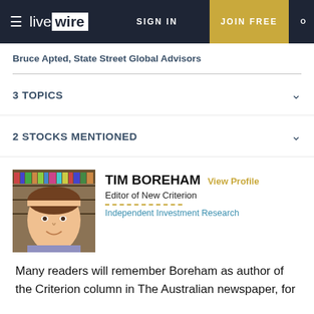livewire | SIGN IN | JOIN FREE
Bruce Apted, State Street Global Advisors
3 TOPICS
2 STOCKS MENTIONED
[Figure (photo): Headshot photo of Tim Boreham, a middle-aged man smiling, with bookshelves in background]
TIM BOREHAM   View Profile
Editor of New Criterion
Independent Investment Research
Many readers will remember Boreham as author of the Criterion column in The Australian newspaper, for